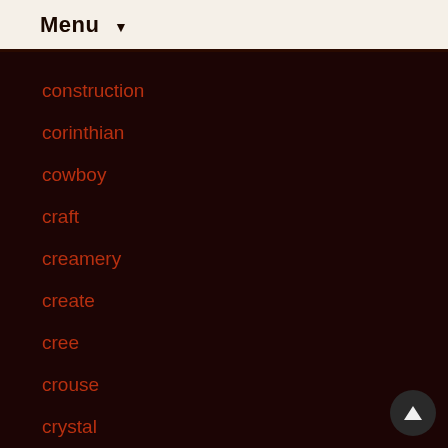Menu
construction
corinthian
cowboy
craft
creamery
create
cree
crouse
crystal
cushman
danish
deco
decorate